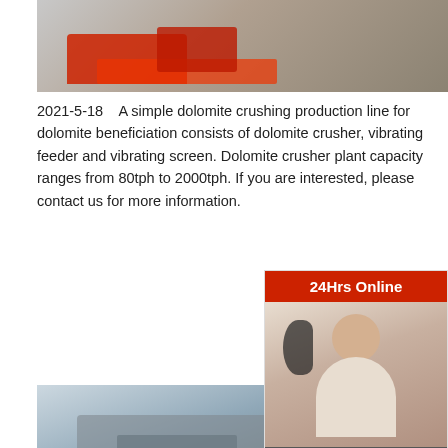[Figure (photo): Red crushing machine on sandy ground, aerial/close-up view]
Plant for ...
2021-5-18    A simple dolomite crushing production line for dolomite beneficiation consists of dolomite crusher, vibrating feeder and vibrating screen. Dolomite crusher plant capacity ranges from 80tph to 2000tph. If you are interested, please contact us for more information.
[Figure (photo): Large mobile crusher plant machinery in desert/quarry setting]
[Figure (other): Yellow box with text 'Re' (partially visible)]
Mobile Dolomite Crushing Machine Used in Dolomite
2021-5-18    Dolomite mobile jaw crusher plant is designed to exceed the primary crushing requirements of customers' quarrying line. All the machines involved in mobile are the most advanced and reliable in the market and productive in a variety of applications.
[Figure (photo): Customer service representative with headset - 24Hrs Online sidebar]
24Hrs Online
Need questions & suggestion?
Chat Now
Enquiry
limingjlmofen